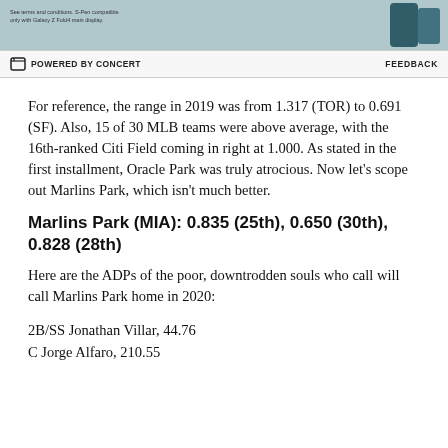[Figure (photo): Top portion of an advertisement image showing a teal/dark colored Samsung Galaxy Z Fold4 device with S-Pen. Small text reads: 'See terms and conditions. S-Pen compatible only with Galaxy Z Fold4 main display.']
POWERED BY CONCERT   FEEDBACK
For reference, the range in 2019 was from 1.317 (TOR) to 0.691 (SF). Also, 15 of 30 MLB teams were above average, with the 16th-ranked Citi Field coming in right at 1.000. As stated in the first installment, Oracle Park was truly atrocious. Now let's scope out Marlins Park, which isn't much better.
Marlins Park (MIA): 0.835 (25th), 0.650 (30th), 0.828 (28th)
Here are the ADPs of the poor, downtrodden souls who call will call Marlins Park home in 2020:
2B/SS Jonathan Villar, 44.76
C Jorge Alfaro, 210.55